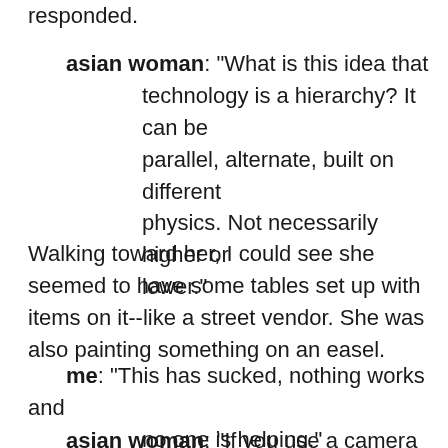responded.
asian woman: "What is this idea that technology is a hierarchy? It can be parallel, alternate, built on different physics. Not necessarily higher or lower."
Walking toward her, I could see she seemed to have some tables set up with items on it--like a street vendor. She was also painting something on an easel.
me: "This has sucked, nothing works and no one is helping."
asian woman: "If you use a camera with